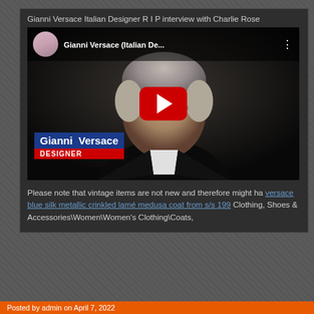Gianni Versace Italian Designer R I P interview with Charlie Rose
[Figure (screenshot): YouTube video thumbnail showing Gianni Versace (Italian De...) with a red play button overlay, a lower-third chyron reading 'Gianni Versace / DESIGNER', and a channel avatar in the top-left corner.]
Please note that vintage items are not new and therefore might ha versace blue silk metallic crinkled lamé medusa coat from s/s 199 Clothing, Shoes & Accessories\Women\Women's Clothing\Coats,